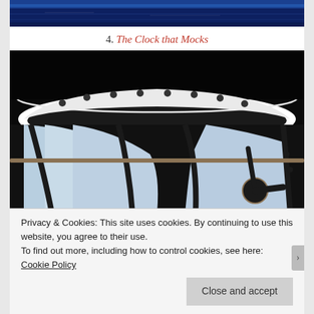[Figure (photo): Top portion of a photo showing a dark blue ocean or sea view, partially cropped at the top of the page.]
4. The Clock that Mocks
[Figure (photo): A large ornate clock face photographed from behind or below, showing clock hands and decorative metal frame with gold elements against a light blue sky background. The image is dark with silhouetted clock elements.]
Privacy & Cookies: This site uses cookies. By continuing to use this website, you agree to their use.
To find out more, including how to control cookies, see here: Cookie Policy
Close and accept